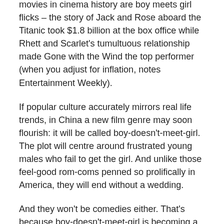movies in cinema history are boy meets girl flicks – the story of Jack and Rose aboard the Titanic took $1.8 billion at the box office while Rhett and Scarlet's tumultuous relationship made Gone with the Wind the top performer (when you adjust for inflation, notes Entertainment Weekly).
If popular culture accurately mirrors real life trends, in China a new film genre may soon flourish: it will be called boy-doesn't-meet-girl. The plot will centre around frustrated young males who fail to get the girl. And unlike those feel-good rom-coms penned so prolifically in America, they will end without a wedding.
And they won't be comedies either. That's because boy-doesn't-meet-girl is becoming a growing problem in China – and it's only set to get worse.
In WiC30 we cited the case of 28 year-old Shanghainese, Zheng Tianxiao who pointed out that even though he was well-educated and reasonably well paid, he couldn't afford an apartment. That meant he couldn't get a wife, he lamented.